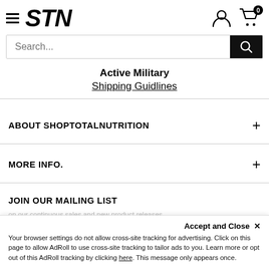STN
Active Military
Shipping Guidlines
ABOUT SHOPTOTALNUTRITION
MORE INFO.
JOIN OUR MAILING LIST
Accept and Close ✕
Your browser settings do not allow cross-site tracking for advertising. Click on this page to allow AdRoll to use cross-site tracking to tailor ads to you. Learn more or opt out of this AdRoll tracking by clicking here. This message only appears once.